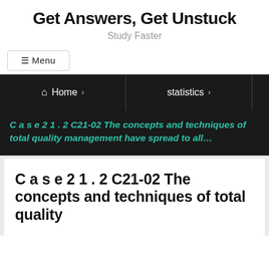Get Answers, Get Unstuck
Study Faster
☰ Menu
Home › statistics ›
C a s e 2 1 . 2 C21-02 The concepts and techniques of total quality management have spread to all…
C a s e 2 1 . 2 C21-02 The concepts and techniques of total quality